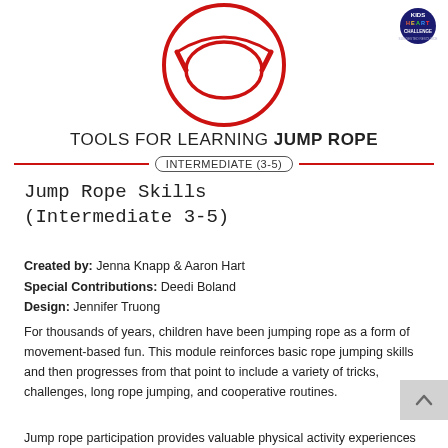[Figure (logo): Jump rope icon inside a red circle, centered at top of page]
[Figure (logo): Kids Heart Challenge 'Suggested Resource' badge in top right corner]
TOOLS FOR LEARNING JUMP ROPE
INTERMEDIATE (3-5)
Jump Rope Skills (Intermediate 3-5)
Created by: Jenna Knapp & Aaron Hart
Special Contributions: Deedi Boland
Design: Jennifer Truong
For thousands of years, children have been jumping rope as a form of movement-based fun. This module reinforces basic rope jumping skills and then progresses from that point to include a variety of tricks, challenges, long rope jumping, and cooperative routines.
Jump rope participation provides valuable physical activity experiences